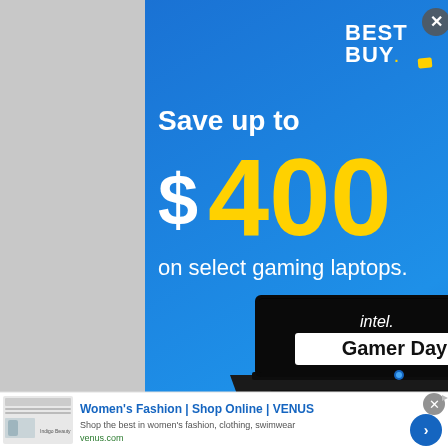[Figure (advertisement): Best Buy advertisement: blue gradient background, Best Buy logo top right, text 'Save up to $400 on select gaming laptops.' with a gaming laptop showing Intel Gamer Days on screen, close button top right corner]
[Figure (advertisement): Women's Fashion VENUS ad banner with thumbnail screenshot of website, text 'Women's Fashion | Shop Online | VENUS', 'Shop the best in women's fashion, clothing, swimwear', 'venus.com', blue arrow button, close button and AdChoices icon]